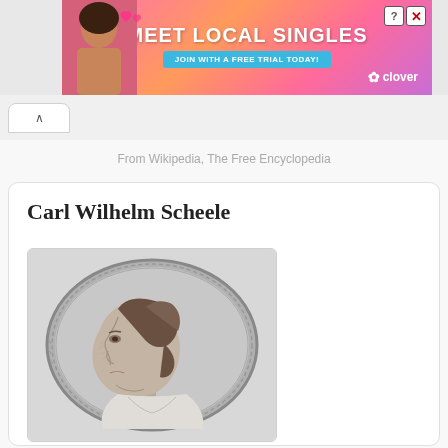[Figure (screenshot): Advertisement banner for 'Meet Local Singles' by Clover dating app, with pink/orange gradient background, a woman's photo, close and help icons in top right]
From Wikipedia, The Free Encyclopedia
Carl Wilhelm Scheele
[Figure (illustration): Black and white engraving portrait of Carl Wilhelm Scheele in profile view, set within an oval frame with decorative border, showing the subject facing left with period hairstyle]